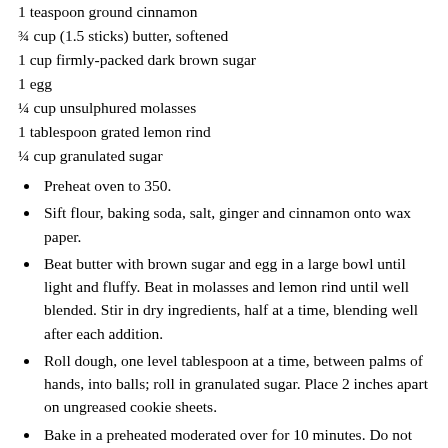1 teaspoon ground cinnamon
¾ cup (1.5 sticks) butter, softened
1 cup firmly-packed dark brown sugar
1 egg
¼ cup unsulphured molasses
1 tablespoon grated lemon rind
¼ cup granulated sugar
Preheat oven to 350.
Sift flour, baking soda, salt, ginger and cinnamon onto wax paper.
Beat butter with brown sugar and egg in a large bowl until light and fluffy. Beat in molasses and lemon rind until well blended. Stir in dry ingredients, half at a time, blending well after each addition.
Roll dough, one level tablespoon at a time, between palms of hands, into balls; roll in granulated sugar. Place 2 inches apart on ungreased cookie sheets.
Bake in a preheated moderated over for 10 minutes. Do not over bake. Cookies will be soft in the center.